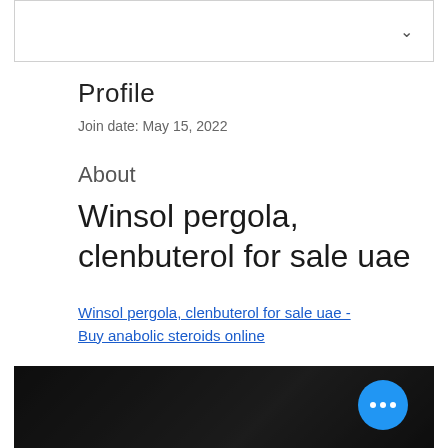[Figure (screenshot): Navigation bar with dropdown chevron icon]
Profile
Join date: May 15, 2022
About
Winsol pergola, clenbuterol for sale uae
Winsol pergola, clenbuterol for sale uae - Buy anabolic steroids online
[Figure (photo): Dark blurred image at bottom of page with a blue circular FAB button with three dots]